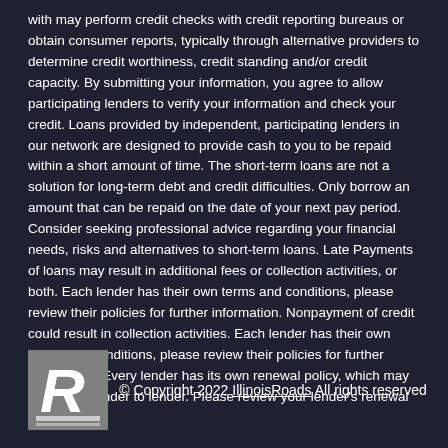with may perform credit checks with credit reporting bureaus or obtain consumer reports, typically through alternative providers to determine credit worthiness, credit standing and/or credit capacity. By submitting your information, you agree to allow participating lenders to verify your information and check your credit. Loans provided by independent, participating lenders in our network are designed to provide cash to you to be repaid within a short amount of time. The short-term loans are not a solution for long-term debt and credit difficulties. Only borrow an amount that can be repaid on the date of your next pay period. Consider seeking professional advice regarding your financial needs, risks and alternatives to short-term loans. Late Payments of loans may result in additional fees or collection activities, or both. Each lender has their own terms and conditions, please review their policies for further information. Nonpayment of credit could result in collection activities. Each lender has their own terms and conditions, please review their policies for further information. Every lender has its own renewal policy, which may differ from lender to lender. Please review your lender's renewal policy.
[Figure (logo): IllinoisRoads logo — stylized letter R in white on grey square background]
© Copyright 2022 IllinoisRoads All rights reserved